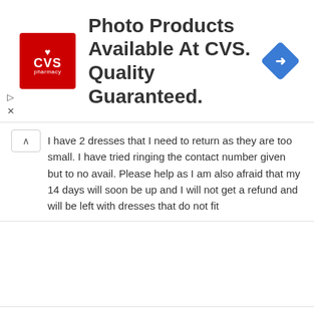[Figure (screenshot): CVS Pharmacy advertisement banner: CVS logo on left, text 'Photo Products Available At CVS. Quality Guaranteed.' in center, blue navigation diamond icon on right.]
I have 2 dresses that I need to return as they are too small. I have tried ringing the contact number given but to no avail. Please help as I am also afraid that my 14 days will soon be up and I will not get a refund and will be left with dresses that do not fit
Lynne Clarke
4 YEARS AGO
I need to return a dress please, the dress is too small and nothing like the quality I was expecting I live near Nottingham, where do I send it to please for returning 28th April 2018